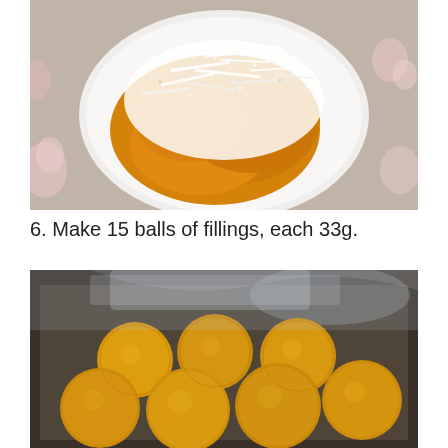[Figure (photo): A white plate on a floral tablecloth containing golden/orange sweet potato or similar filling dusted heavily with white shredded coconut or flour on top.]
6. Make 15 balls of fillings, each 33g.
[Figure (photo): A cardboard box containing multiple golden-yellow spherical balls of filling wrapped loosely in plastic wrap, showing about 10-12 balls of sweet potato or similar filling.]